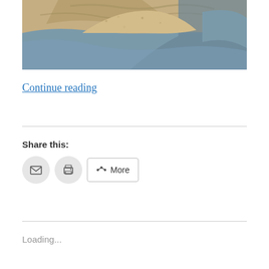[Figure (photo): Close-up photo of sand/soil and blue-grey rock or tarp material]
Continue reading
Share this:
[Figure (infographic): Share buttons: email icon, print icon, and More button]
Loading...